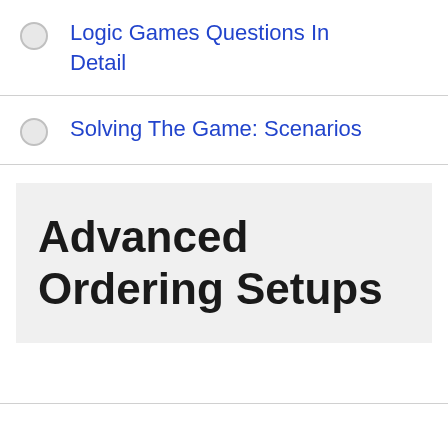Logic Games Questions In Detail
Solving The Game: Scenarios
Advanced Ordering Setups